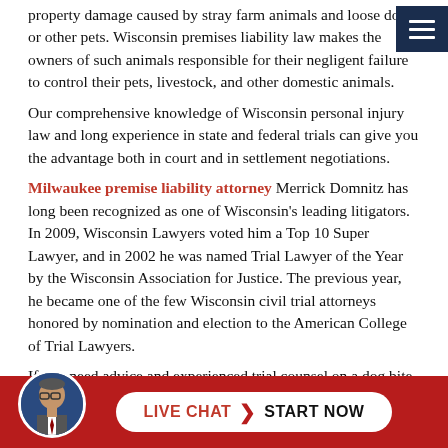property damage caused by stray farm animals and loose dogs or other pets. Wisconsin premises liability law makes the owners of such animals responsible for their negligent failure to control their pets, livestock, and other domestic animals.
Our comprehensive knowledge of Wisconsin personal injury law and long experience in state and federal trials can give you the advantage both in court and in settlement negotiations.
Milwaukee premise liability attorney Merrick Domnitz has long been recognized as one of Wisconsin's leading litigators. In 2009, Wisconsin Lawyers voted him a Top 10 Super Lawyer, and in 2002 he was named Trial Lawyer of the Year by the Wisconsin Association for Justice. The previous year, he became one of the few Wisconsin civil trial attorneys honored by nomination and election to the American College of Trial Lawyers.
If you need advice and experienced trial counsel on a dog bite claim or any other personal injury or property damage case involving animals of any kind, contact a Milwaukee pet negligence attorney at Domnitz & Domnitz, S.C.
Domnitz & Domnitz, S.C.
825 North Jefferson Street, Fifth Floor
Milwau... S.C.
[Figure (other): Live Chat button with attorney avatar photo and pill-shaped chat button reading LIVE CHAT START NOW on a red bar]